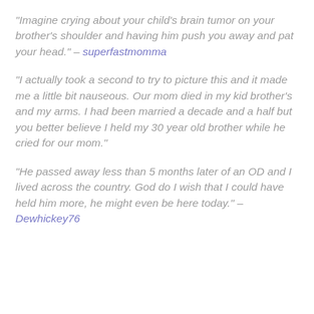"Imagine crying about your child's brain tumor on your brother's shoulder and having him push you away and pat your head." – superfastmomma
"I actually took a second to try to picture this and it made me a little bit nauseous. Our mom died in my kid brother's and my arms. I had been married a decade and a half but you better believe I held my 30 year old brother while he cried for our mom."
"He passed away less than 5 months later of an OD and I lived across the country. God do I wish that I could have held him more, he might even be here today." – Dewhickey76